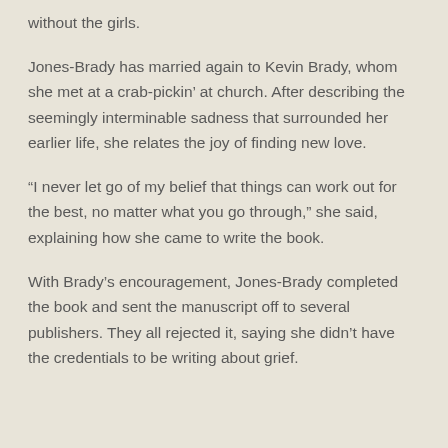without the girls.
Jones-Brady has married again to Kevin Brady, whom she met at a crab-pickin’ at church. After describing the seemingly interminable sadness that surrounded her earlier life, she relates the joy of finding new love.
“I never let go of my belief that things can work out for the best, no matter what you go through,” she said, explaining how she came to write the book.
With Brady’s encouragement, Jones-Brady completed the book and sent the manuscript off to several publishers. They all rejected it, saying she didn’t have the credentials to be writing about grief.